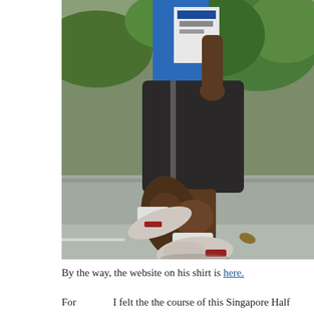[Figure (photo): A runner mid-stride on a paved road, wearing black compression shorts, a blue and white Mizuno race shirt, and white running shoes with red accents. Green foliage visible in the background. Only the lower body and torso are visible.]
By the way, the website on his shirt is here.
For more on I felt the the course of this Singapore Half